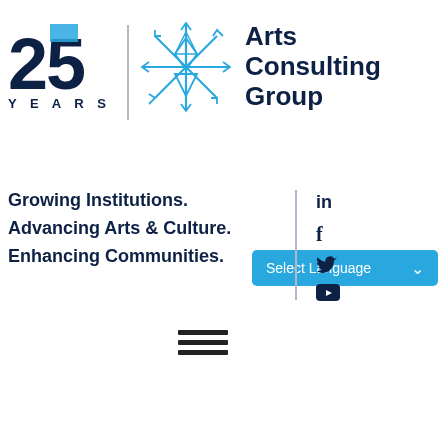[Figure (logo): Arts Consulting Group 25 Years logo with stylized '25', vertical divider, snowflake symbol, and 'Arts Consulting Group' text in dark navy blue]
Select Language
Growing Institutions.
Advancing Arts & Culture.
Enhancing Communities.
[Figure (other): Social media icons: LinkedIn (in), Facebook (f), Twitter (bird), YouTube (rectangle with play button)]
[Figure (other): Hamburger menu icon with three horizontal lines]
Is It Feasible? The Reality of